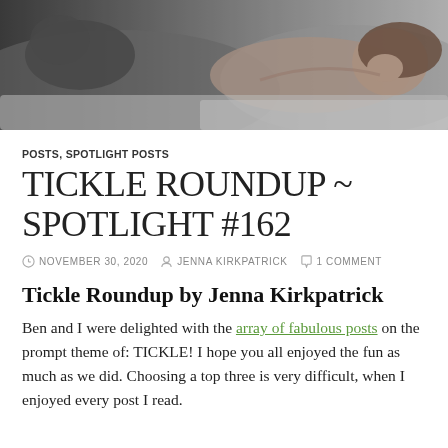[Figure (photo): Black and white photo of a couple lying in bed, woman smiling with eyes closed, man beside her]
POSTS, SPOTLIGHT POSTS
TICKLE ROUNDUP ~ SPOTLIGHT #162
NOVEMBER 30, 2020   JENNA KIRKPATRICK   1 COMMENT
Tickle Roundup by Jenna Kirkpatrick
Ben and I were delighted with the array of fabulous posts on the prompt theme of: TICKLE! I hope you all enjoyed the fun as much as we did. Choosing a top three is very difficult, when I enjoyed every post I read.